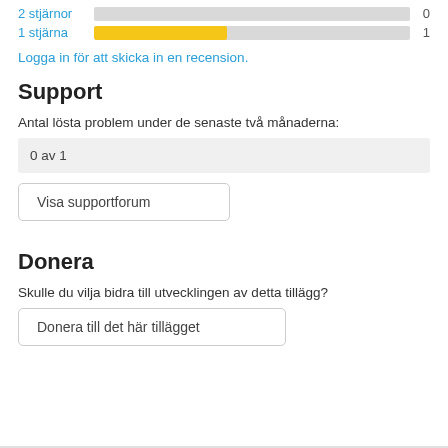[Figure (bar-chart): Star ratings]
Logga in för att skicka in en recension.
Support
Antal lösta problem under de senaste två månaderna:
0 av 1
Visa supportforum
Donera
Skulle du vilja bidra till utvecklingen av detta tillägg?
Donera till det här tillägget